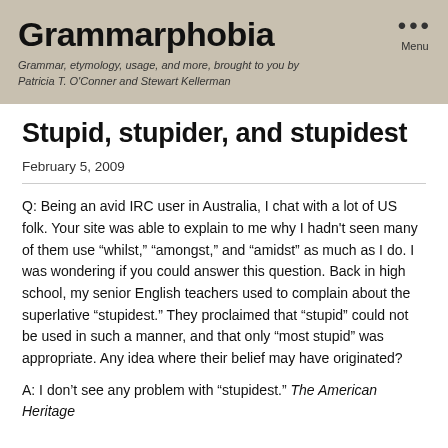Grammarphobia
Grammar, etymology, usage, and more, brought to you by Patricia T. O'Conner and Stewart Kellerman
Stupid, stupider, and stupidest
February 5, 2009
Q: Being an avid IRC user in Australia, I chat with a lot of US folk. Your site was able to explain to me why I hadn't seen many of them use “whilst,” “amongst,” and “amidst” as much as I do. I was wondering if you could answer this question. Back in high school, my senior English teachers used to complain about the superlative “stupidest.” They proclaimed that “stupid” could not be used in such a manner, and that only “most stupid” was appropriate. Any idea where their belief may have originated?
A: I don’t see any problem with “stupidest.” The American Heritage